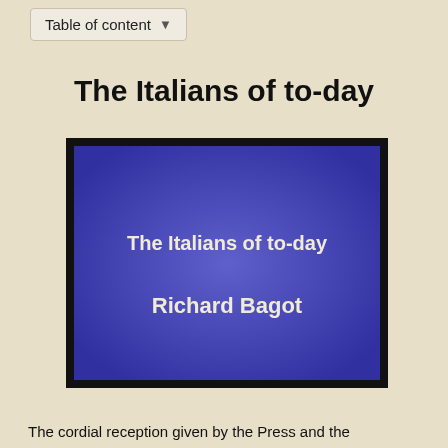Table of content
The Italians of to-day
[Figure (illustration): Book cover image with blue/purple gradient background displaying title 'The Italians of to-day' and author 'Richard Bagot' in bold white/cream text]
The cordial reception given by the Press and the